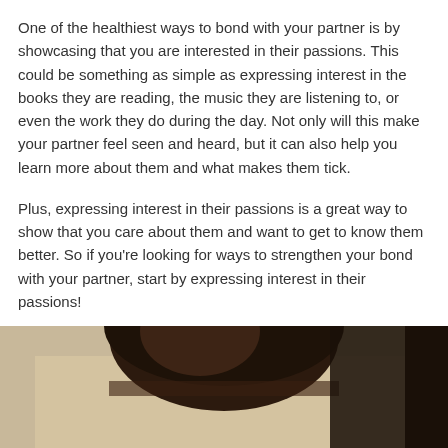One of the healthiest ways to bond with your partner is by showcasing that you are interested in their passions. This could be something as simple as expressing interest in the books they are reading, the music they are listening to, or even the work they do during the day. Not only will this make your partner feel seen and heard, but it can also help you learn more about them and what makes them tick.
Plus, expressing interest in their passions is a great way to show that you care about them and want to get to know them better. So if you're looking for ways to strengthen your bond with your partner, start by expressing interest in their passions!
[Figure (photo): A photo of a person with dark brown hair, showing the top of their head, on a beige/tan background. A dark element is visible on the right edge.]